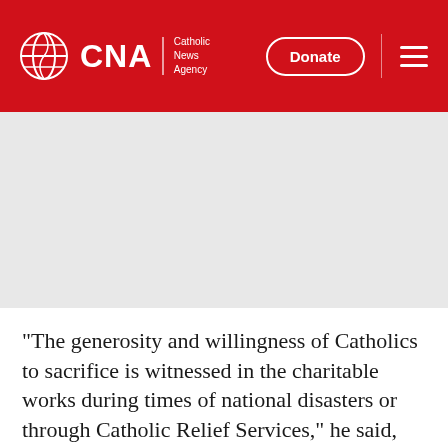CNA | Catholic News Agency — Donate
[Figure (photo): Gray placeholder image area below the CNA header navigation bar]
"The generosity and willingness of Catholics to sacrifice is witnessed in the charitable works during times of national disasters or through Catholic Relief Services," he said, adding that